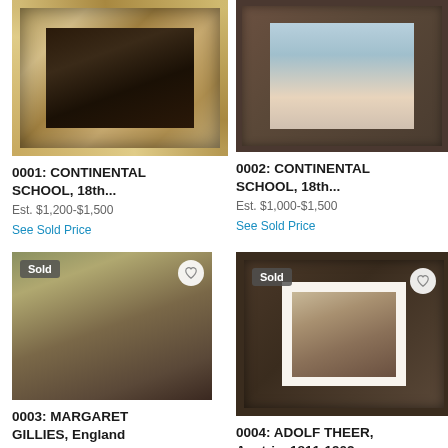[Figure (photo): Lot 0001: Painting in ornate gold frame, dark interior scene, Continental School 18th century]
[Figure (photo): Lot 0002: Painting in dark wood frame, figure study in light tones, Continental School 18th century]
0001: CONTINENTAL SCHOOL, 18th...
Est. $1,200-$1,500
See Sold Price
0002: CONTINENTAL SCHOOL, 18th...
Est. $1,000-$1,500
See Sold Price
[Figure (photo): Lot 0003: Painting marked Sold, religious scene with figures, Margaret Gillies, England]
[Figure (photo): Lot 0004: Painting marked Sold, framed portrait of mother and child, Adolf Theer, Austria, 1811-1902]
0003: MARGARET GILLIES, England
0004: ADOLF THEER, Austria, 1811-1902